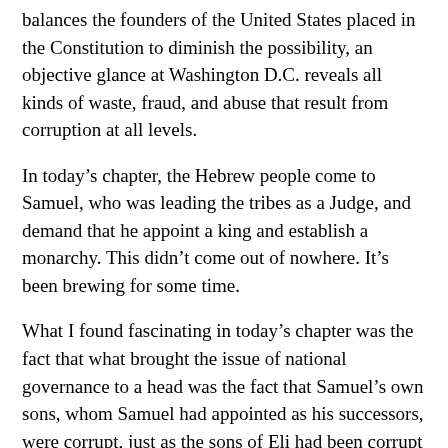balances the founders of the United States placed in the Constitution to diminish the possibility, an objective glance at Washington D.C. reveals all kinds of waste, fraud, and abuse that result from corruption at all levels.
In today's chapter, the Hebrew people come to Samuel, who was leading the tribes as a Judge, and demand that he appoint a king and establish a monarchy. This didn't come out of nowhere. It's been brewing for some time.
What I found fascinating in today's chapter was the fact that what brought the issue of national governance to a head was the fact that Samuel's own sons, whom Samuel had appointed as his successors, were corrupt, just as the sons of Eli had been corrupt in the time of Samuel's childhood and youth. I don't think it is a coincidence. It's a pattern and a very human one, just as it is tempting to believe that another form of human government will be better than the one under which you're living. But I suspect even the "the grass is greener" on this matter...